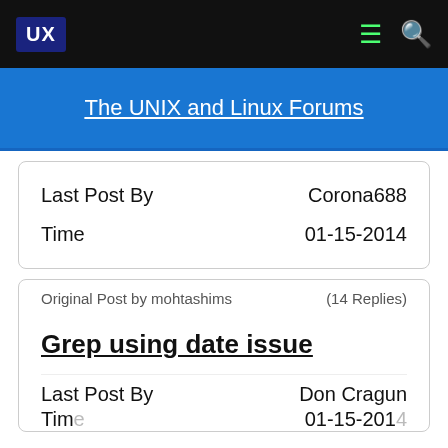UX
The UNIX and Linux Forums
| Last Post By | Corona688 |
| --- | --- |
| Time | 01-15-2014 |
Original Post by mohtashims   (14 Replies)
Grep using date issue
| Last Post By | Don Cragun |
| --- | --- |
| Time | 01-15-2014 |